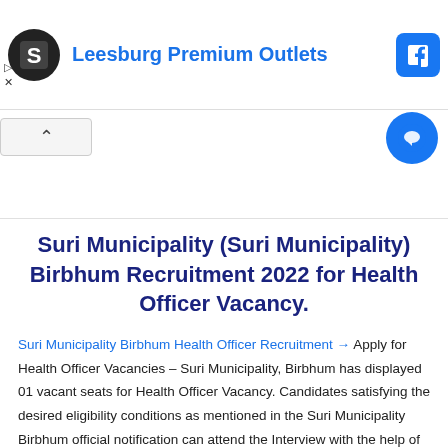[Figure (screenshot): Advertisement banner for Leesburg Premium Outlets with black circular logo, blue text, and Facebook share button]
Suri Municipality (Suri Municipality) Birbhum Recruitment 2022 for Health Officer Vacancy.
Suri Municipality Birbhum Health Officer Recruitment → Apply for Health Officer Vacancies – Suri Municipality, Birbhum has displayed 01 vacant seats for Health Officer Vacancy. Candidates satisfying the desired eligibility conditions as mentioned in the Suri Municipality Birbhum official notification can attend the Interview with the help of details given below- NOTE:– Candidates are advised to thoroughly read the original Suri Municipality Birbhum job notification before applying for the